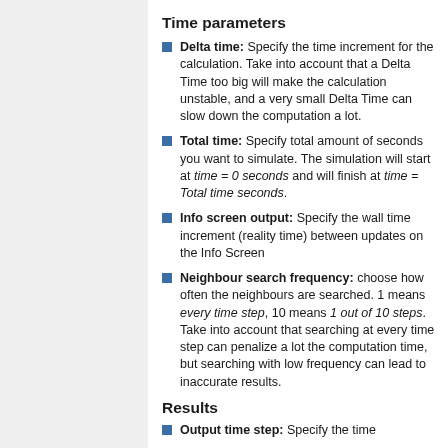Time parameters
Delta time: Specify the time increment for the calculation. Take into account that a Delta Time too big will make the calculation unstable, and a very small Delta Time can slow down the computation a lot.
Total time: Specify total amount of seconds you want to simulate. The simulation will start at time = 0 seconds and will finish at time = Total time seconds.
Info screen output: Specify the wall time increment (reality time) between updates on the Info Screen
Neighbour search frequency: choose how often the neighbours are searched. 1 means every time step, 10 means 1 out of 10 steps. Take into account that searching at every time step can penalize a lot the computation time, but searching with low frequency can lead to inaccurate results.
Results
Output time step: Specify the time